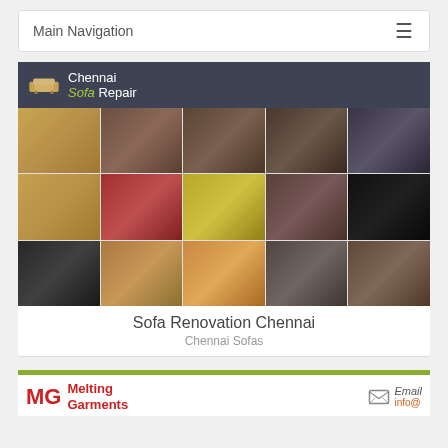Main Navigation
[Figure (screenshot): Chennai Sofa Repair website screenshot showing logo with sofa icon and brand name, grid of furniture images including sofas, beds, curtains in various styles]
Sofa Renovation Chennai
Chennai Sofas
[Figure (logo): Melting Garments logo with MG letters in red and email contact info]